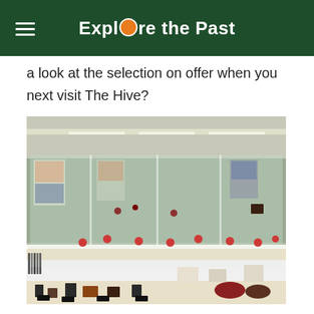Explore the Past
a look at the selection on offer when you next visit The Hive?
[Figure (photo): Interior of The Hive library/museum showing glass display cases filled with pottery, mugs, ceramics and other heritage objects arranged on white shelving units, with posters and cards in the background. The cases span a curved counter area in a modern building interior with recessed lighting.]